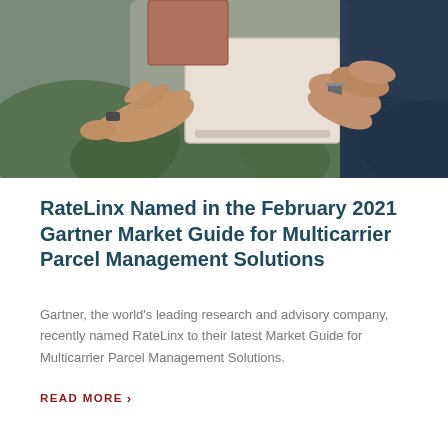[Figure (photo): A delivery person in a dark blue shirt handing a parcel/box to a recipient; hands and packages visible up close, green foliage in the background.]
RateLinx Named in the February 2021 Gartner Market Guide for Multicarrier Parcel Management Solutions
Gartner, the world's leading research and advisory company, recently named RateLinx to their latest Market Guide for Multicarrier Parcel Management Solutions.
READ MORE ›